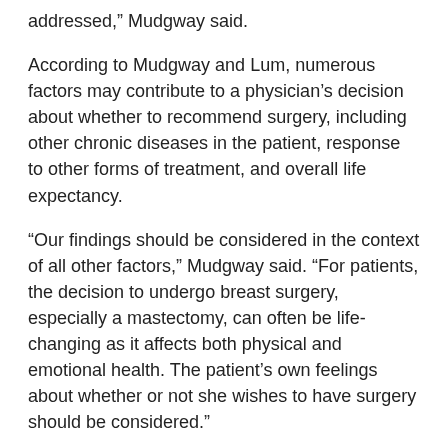addressed,” Mudgway said.
According to Mudgway and Lum, numerous factors may contribute to a physician’s decision about whether to recommend surgery, including other chronic diseases in the patient, response to other forms of treatment, and overall life expectancy.
“Our findings should be considered in the context of all other factors,” Mudgway said. “For patients, the decision to undergo breast surgery, especially a mastectomy, can often be life- changing as it affects both physical and emotional health. The patient’s own feelings about whether or not she wishes to have surgery should be considered.”
The study was self-funded by the Department of Surgery at Loma Linda University.